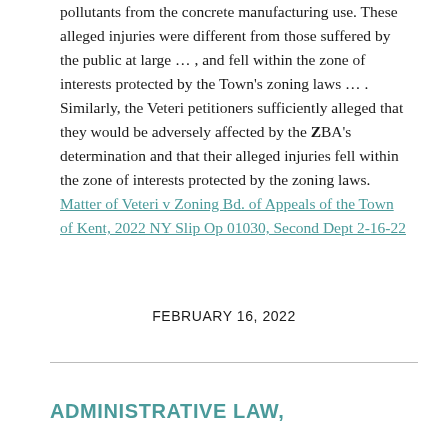pollutants from the concrete manufacturing use. These alleged injuries were different from those suffered by the public at large … , and fell within the zone of interests protected by the Town's zoning laws … . Similarly, the Veteri petitioners sufficiently alleged that they would be adversely affected by the ZBA's determination and that their alleged injuries fell within the zone of interests protected by the zoning laws. Matter of Veteri v Zoning Bd. of Appeals of the Town of Kent, 2022 NY Slip Op 01030, Second Dept 2-16-22
FEBRUARY 16, 2022
ADMINISTRATIVE LAW,